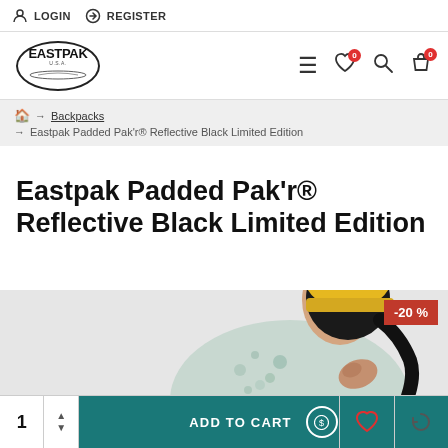LOGIN   REGISTER
EASTPAK logo navigation bar with hamburger menu, wishlist (0), search, and cart (0) icons
Home → Backpacks → Eastpak Padded Pak'r® Reflective Black Limited Edition
Eastpak Padded Pak'r® Reflective Black Limited Edition
[Figure (photo): Product photo showing a person wearing a yellow beanie hat with a backpack strap visible, against a light background. A red discount badge showing -20% is in the top right corner.]
1  ADD TO CART